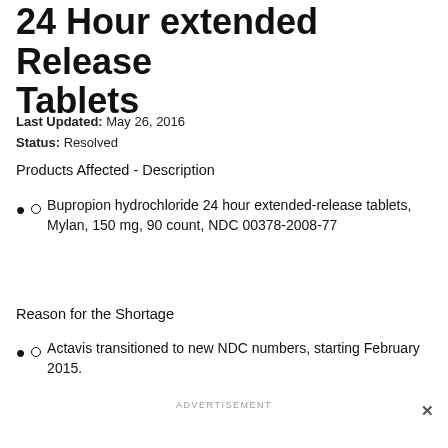24 Hour extended Release Tablets
Last Updated: May 26, 2016
Status: Resolved
Products Affected - Description
Bupropion hydrochloride 24 hour extended-release tablets, Mylan, 150 mg, 90 count, NDC 00378-2008-77
Reason for the Shortage
Actavis transitioned to new NDC numbers, starting February 2015.
ADVERTISEMENT